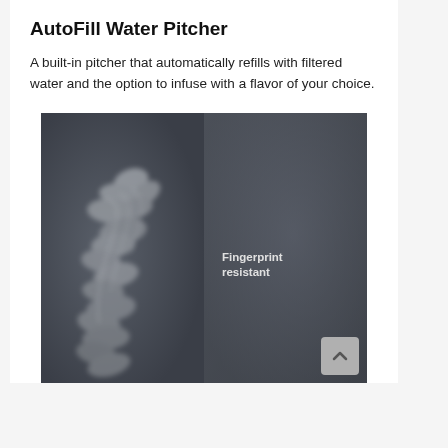AutoFill Water Pitcher
A built-in pitcher that automatically refills with filtered water and the option to infuse with a flavor of your choice.
[Figure (photo): Side-by-side comparison of a dark surface: left panel shows visible fingerprint smudges on the surface, right panel shows a clean fingerprint-resistant surface with the label 'Fingerprint resistant']